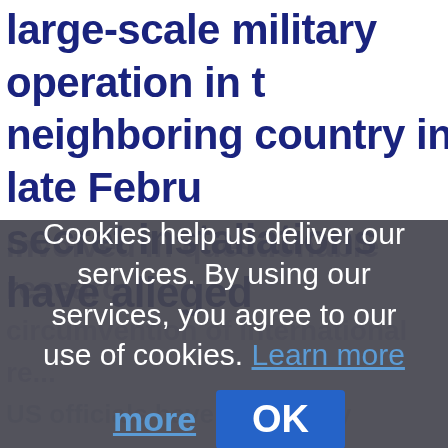large-scale military operation in neighboring country in late February, secret installations have alleged involved in questionable...
Cookies help us deliver our services. By using our services, you agree to our use of cookies. Learn more | OK